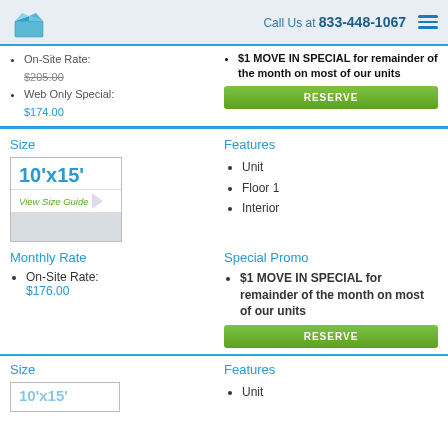Call Us at 833-448-1067
On-Site Rate: $205.00 (strikethrough)
Web Only Special: $174.00
$1 MOVE IN SPECIAL for remainder of the month on most of our units
Size
[Figure (schematic): Storage unit size diagram showing 10'x15' with View Size Guide label]
Features
Unit
Floor 1
Interior
Monthly Rate
On-Site Rate: $176.00
Special Promo
$1 MOVE IN SPECIAL for remainder of the month on most of our units
Size
Unit